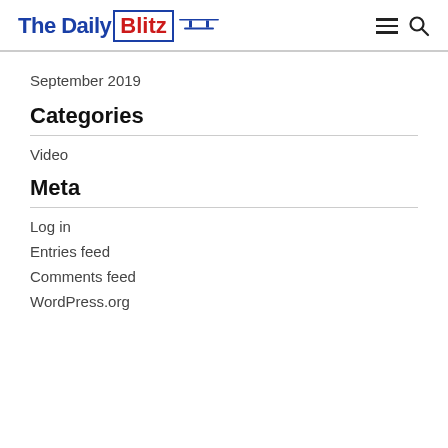The Daily Blitz
September 2019
Categories
Video
Meta
Log in
Entries feed
Comments feed
WordPress.org